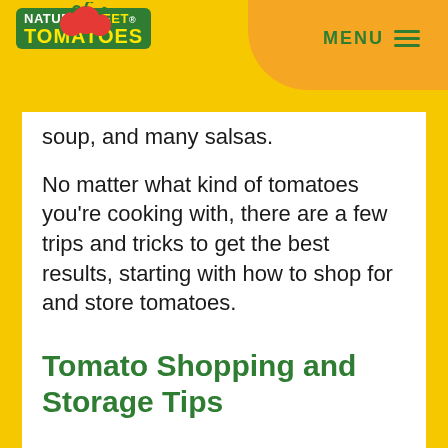NatureSweet Tomatoes — MENU
soup, and many salsas.
No matter what kind of tomatoes you’re cooking with, there are a few trips and tricks to get the best results, starting with how to shop for and store tomatoes.
Tomato Shopping and Storage Tips